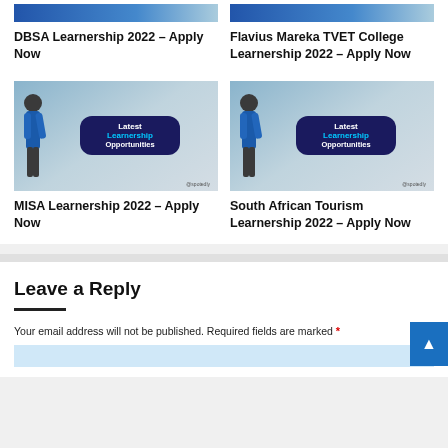[Figure (photo): Learnership opportunity image top-left (partially visible)]
DBSA Learnership 2022 – Apply Now
[Figure (photo): Learnership opportunity image top-right (partially visible)]
Flavius Mareka TVET College Learnership 2022 – Apply Now
[Figure (photo): Latest Learnership Opportunities image - bottom left]
MISA Learnership 2022 – Apply Now
[Figure (photo): Latest Learnership Opportunities image - bottom right]
South African Tourism Learnership 2022 – Apply Now
Leave a Reply
Your email address will not be published. Required fields are marked *